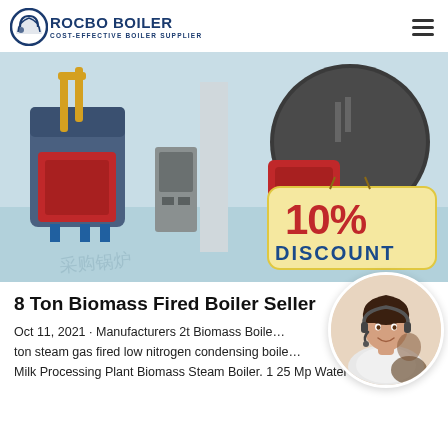ROCBO BOILER - COST-EFFECTIVE BOILER SUPPLIER
[Figure (photo): Industrial boiler equipment showroom with multiple red and blue boilers on a light blue floor, featuring a '10% DISCOUNT' promotional badge overlay in the bottom right corner]
8 Ton Biomass Fired Boiler Seller
Oct 11, 2021 · Manufacturers 2t Biomass Boiler... ton steam gas fired low nitrogen condensing boile... Milk Processing Plant Biomass Steam Boiler. 1 25 Mp Water Tube